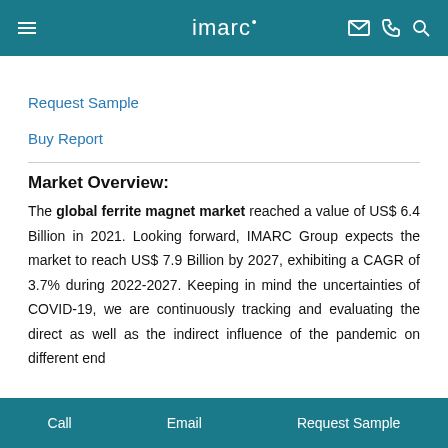imarc
Request Sample
Buy Report
Market Overview:
The global ferrite magnet market reached a value of US$ 6.4 Billion in 2021. Looking forward, IMARC Group expects the market to reach US$ 7.9 Billion by 2027, exhibiting a CAGR of 3.7% during 2022-2027. Keeping in mind the uncertainties of COVID-19, we are continuously tracking and evaluating the direct as well as the indirect influence of the pandemic on different end
Call   Email   Request Sample